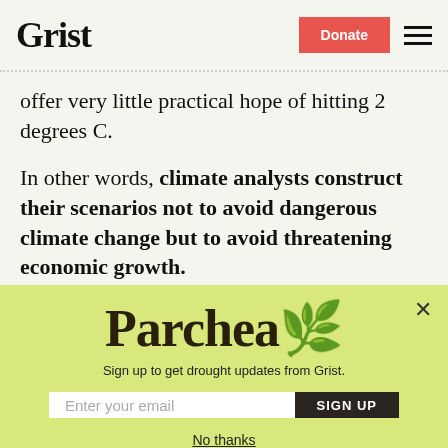Grist | Donate
offer very little practical hope of hitting 2 degrees C.
In other words, climate analysts construct their scenarios not to avoid dangerous climate change but to avoid threatening economic growth.
[Figure (other): Parchea newsletter signup modal with yellow-green background, Parchea logo, email input field, SIGN UP button, and No thanks link]
Sign up to get drought updates from Grist.
No thanks